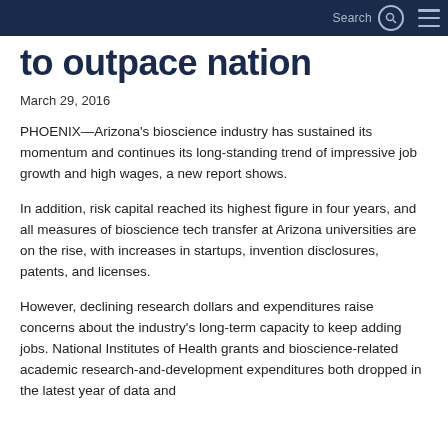Search
to outpace nation
March 29, 2016
PHOENIX—Arizona's bioscience industry has sustained its momentum and continues its long-standing trend of impressive job growth and high wages, a new report shows.
In addition, risk capital reached its highest figure in four years, and all measures of bioscience tech transfer at Arizona universities are on the rise, with increases in startups, invention disclosures, patents, and licenses.
However, declining research dollars and expenditures raise concerns about the industry's long-term capacity to keep adding jobs. National Institutes of Health grants and bioscience-related academic research-and-development expenditures both dropped in the latest year of data and